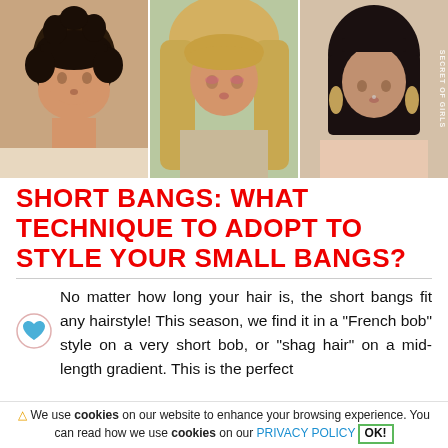[Figure (photo): Three women with short bangs hairstyles side by side: curly dark hair, blonde shag hair, dark bob with micro bangs]
SHORT BANGS: WHAT TECHNIQUE TO ADOPT TO STYLE YOUR SMALL BANGS?
No matter how long your hair is, the short bangs fit any hairstyle! This season, we find it in a "French bob" style on a very short bob, or "shag hair" on a mid-length gradient. This is the perfect
⚠ We use cookies on our website to enhance your browsing experience. You can read how we use cookies on our PRIVACY POLICY OK!